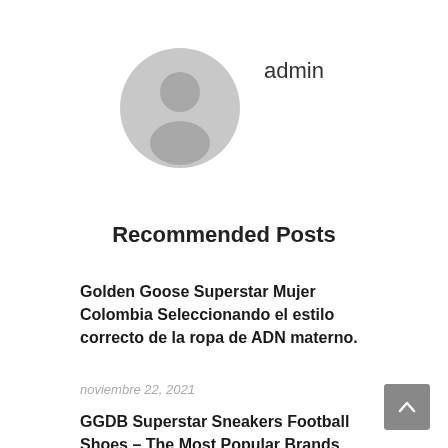[Figure (illustration): Gray default user avatar icon (circle with person silhouette)]
admin
Recommended Posts
Golden Goose Superstar Mujer Colombia Seleccionando el estilo correcto de la ropa de ADN materno.
noviembre 22, 2021
GGDB Superstar Sneakers Football Shoes – The Most Popular Brands